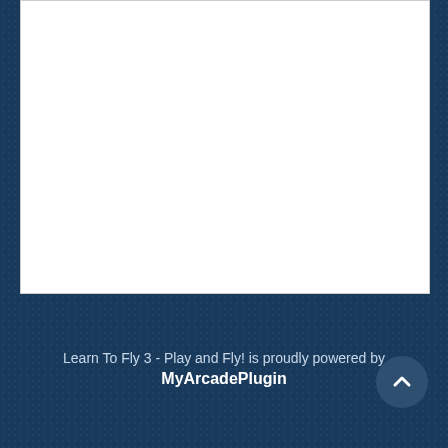[Figure (other): White content area representing a game or embedded content region]
Learn To Fly 3 - Play and Fly! is proudly powered by MyArcadePlugin